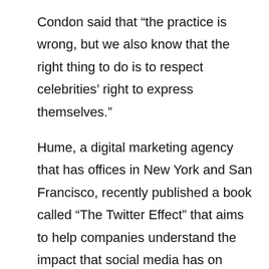Condon said that “the practice is wrong, but we also know that the right thing to do is to respect celebrities’ right to express themselves.”
Hume, a digital marketing agency that has offices in New York and San Francisco, recently published a book called “The Twitter Effect” that aims to help companies understand the impact that social media has on businesses.
Hume said the book focuses on how social media can be an effective way for businesses to grow, and that it “understands why it is that some people feel that they have no place to go in the